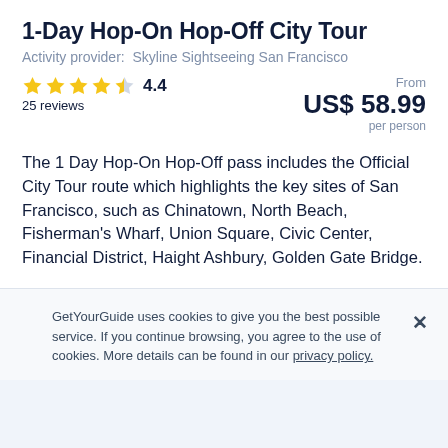1-Day Hop-On Hop-Off City Tour
Activity provider:  Skyline Sightseeing San Francisco
★★★★½ 4.4
25 reviews
From
US$ 58.99
per person
The 1 Day Hop-On Hop-Off pass includes the Official City Tour route which highlights the key sites of San Francisco, such as Chinatown, North Beach, Fisherman's Wharf, Union Square, Civic Center, Financial District, Haight Ashbury, Golden Gate Bridge.
GetYourGuide uses cookies to give you the best possible service. If you continue browsing, you agree to the use of cookies. More details can be found in our privacy policy.